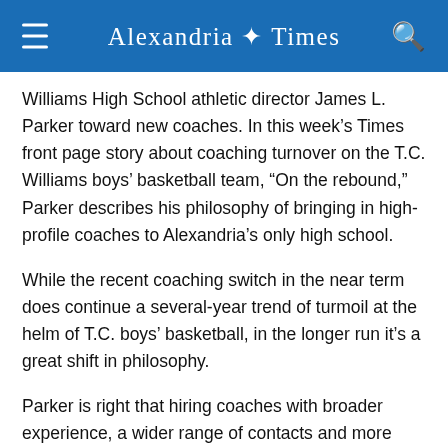Alexandria Times
Williams High School athletic director James L. Parker toward new coaches. In this week’s Times front page story about coaching turnover on the T.C. Williams boys’ basketball team, “On the rebound,” Parker describes his philosophy of bringing in high-profile coaches to Alexandria’s only high school.
While the recent coaching switch in the near term does continue a several-year trend of turmoil at the helm of T.C. boys’ basketball, in the longer run it’s a great shift in philosophy.
Parker is right that hiring coaches with broader experience, a wider range of contacts and more renown in their respective areas is going to help T.C.’s student-athletes going forward.